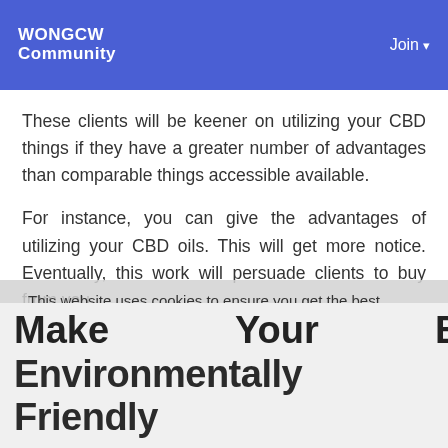WONGCW Community | Join
These clients will be keener on utilizing your CBD things if they have a greater number of advantages than comparable things accessible available.
For instance, you can give the advantages of utilizing your CBD oils. This will get more notice. Eventually, this work will persuade clients to buy from you.
This website uses cookies to ensure you get the best experience on our website
Learn More
Make Your Boxes Environmentally Friendly